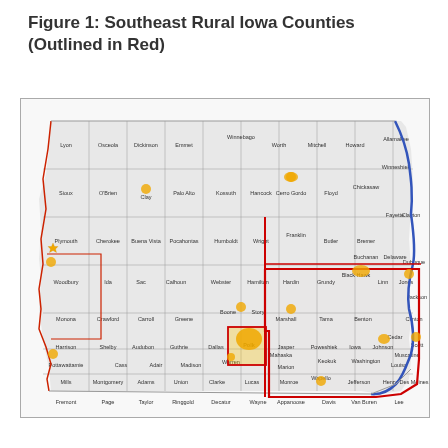Figure 1: Southeast Rural Iowa Counties (Outlined in Red)
[Figure (map): Map of Iowa counties with southeast rural counties outlined in red and the eastern border outlined in blue. Several counties contain gold/yellow star or symbol markers indicating population centers or significant locations.]